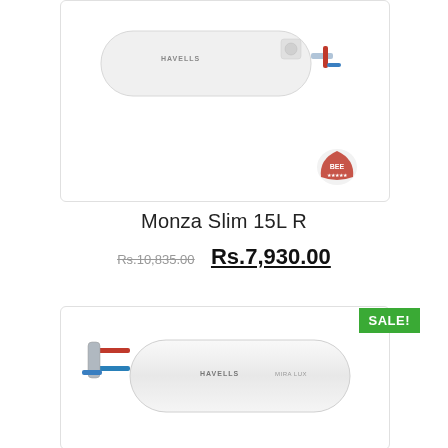[Figure (photo): Havells Monza Slim 15L R horizontal water heater product photo with energy rating badge, shown in a white rounded-corner card]
Monza Slim 15L R
Rs.10,835.00  Rs.7,930.00
[Figure (photo): Havells horizontal cylindrical water heater product photo shown in a white card with SALE! badge in green]